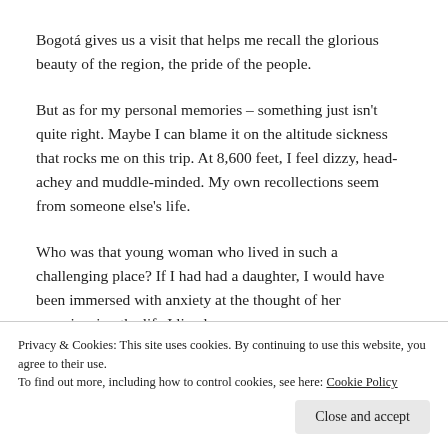Bogotá gives us a visit that helps me recall the glorious beauty of the region, the pride of the people.
But as for my personal memories – something just isn't quite right. Maybe I can blame it on the altitude sickness that rocks me on this trip. At 8,600 feet, I feel dizzy, head-achey and muddle-minded. My own recollections seem from someone else's life.
Who was that young woman who lived in such a challenging place? If I had had a daughter, I would have been immersed with anxiety at the thought of her experiencing the life I lived
Privacy & Cookies: This site uses cookies. By continuing to use this website, you agree to their use.
To find out more, including how to control cookies, see here: Cookie Policy
Close and accept